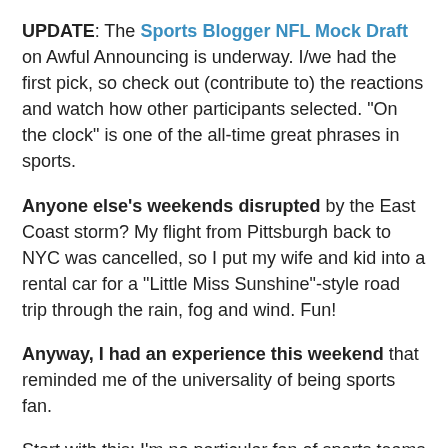UPDATE: The Sports Blogger NFL Mock Draft on Awful Announcing is underway. I/we had the first pick, so check out (contribute to) the reactions and watch how other participants selected. "On the clock" is one of the all-time great phrases in sports.
Anyone else's weekends disrupted by the East Coast storm? My flight from Pittsburgh back to NYC was cancelled, so I put my wife and kid into a rental car for a "Little Miss Sunshine"-style road trip through the rain, fog and wind. Fun!
Anyway, I had an experience this weekend that reminded me of the universality of being sports fan.
Start with this: I'm no particular fan of sports teams in Pittsburgh -- Steelers, Pirates, Penguins, Pitt.
But I was in town for a wedding during a great sports weekend: Bonds 2HR at PNC (which is an absolutely gorgeous park, even in the rain), Penguins in the playoffs, Pitt holds their spring football game at Heinz Field (another gorgeous stadium). With everyone else talking about the